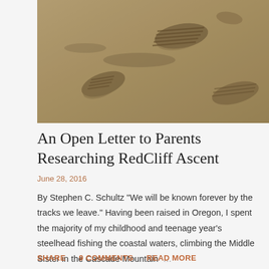[Figure (photo): Close-up photograph of boot prints and footprints pressed into dry sandy/dusty ground]
An Open Letter to Parents Researching RedCliff Ascent
June 28, 2016
By Stephen C. Schultz "We will be known forever by the tracks we leave." Having been raised in Oregon, I spent the majority of my childhood and teenage year's steelhead fishing the coastal waters, climbing the Middle Sister in the Cascade Mountain …
SHARE   9 COMMENTS   READ MORE